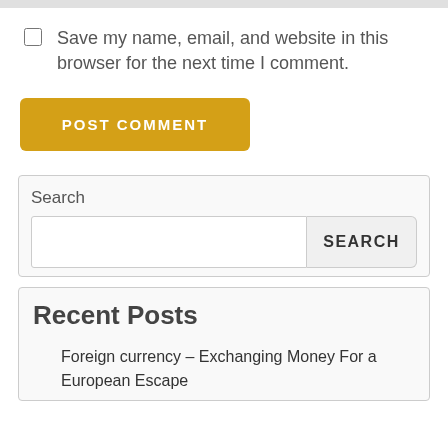Save my name, email, and website in this browser for the next time I comment.
POST COMMENT
Search
SEARCH
Recent Posts
Foreign currency – Exchanging Money For a European Escape